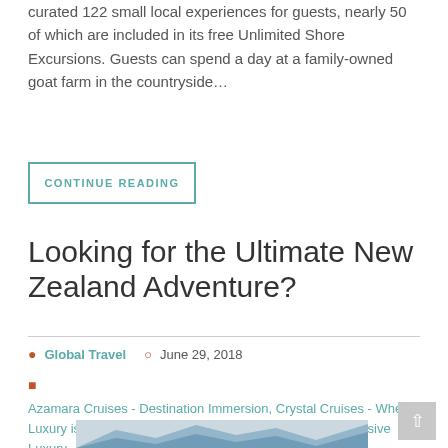curated 122 small local experiences for guests, nearly 50 of which are included in its free Unlimited Shore Excursions. Guests can spend a day at a family-owned goat farm in the countryside…
CONTINUE READING
Looking for the Ultimate New Zealand Adventure?
Global Travel   June 29, 2018
Azamara Cruises - Destination Immersion, Crystal Cruises - Where Luxury is Personal, Destinations, Regent Cruises - All-Inclusive Luxury
[Figure (photo): Scenic mountain landscape photograph showing blue mountains with clouds, likely New Zealand Alps or similar alpine scenery]